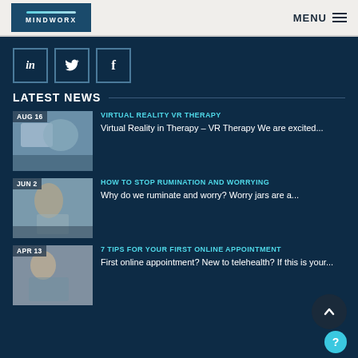MINDWORX | MENU
[Figure (logo): Mindworx logo on dark blue background with stylized line, white text]
[Figure (infographic): LinkedIn, Twitter, Facebook social media icon buttons in outlined squares on dark navy background]
LATEST NEWS
[Figure (photo): AUG 16 thumbnail photo for Virtual Reality VR Therapy article]
VIRTUAL REALITY VR THERAPY
Virtual Reality in Therapy – VR Therapy We are excited...
[Figure (photo): JUN 2 thumbnail photo for How To Stop Rumination And Worrying article]
HOW TO STOP RUMINATION AND WORRYING
Why do we ruminate and worry? Worry jars are a...
[Figure (photo): APR 13 thumbnail photo for 7 Tips For Your First Online Appointment article]
7 TIPS FOR YOUR FIRST ONLINE APPOINTMENT
First online appointment? New to telehealth? If this is your...